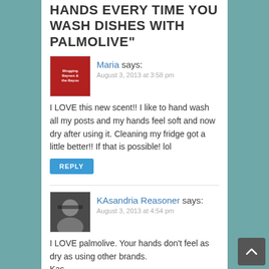HANDS EVERY TIME YOU WASH DISHES WITH PALMOLIVE"
Maria says:
August 3, 2013 at 3:58 pm
I LOVE this new scent!! I like to hand wash all my posts and my hands feel soft and now dry after using it. Cleaning my fridge got a little better!! If that is possible! lol
KAsandria Reasoner says:
August 3, 2013 at 4:54 pm
I LOVE palmolive. Your hands don't feel as dry as using other brands.
Kas